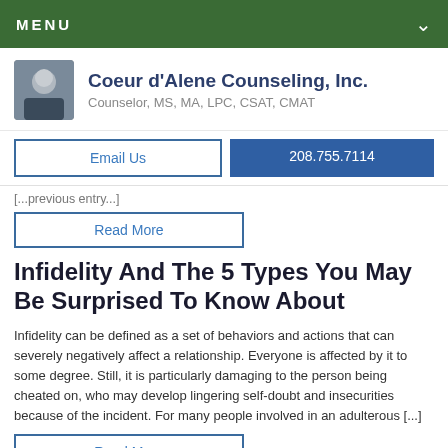MENU
Coeur d'Alene Counseling, Inc.
Counselor, MS, MA, LPC, CSAT, CMAT
Email Us
208.755.7114
Read More
Infidelity And The 5 Types You May Be Surprised To Know About
Infidelity can be defined as a set of behaviors and actions that can severely negatively affect a relationship. Everyone is affected by it to some degree. Still, it is particularly damaging to the person being cheated on, who may develop lingering self-doubt and insecurities because of the incident.  For many people involved in an adulterous [...]
Read More
Tools to Help Sexual Addicts Help